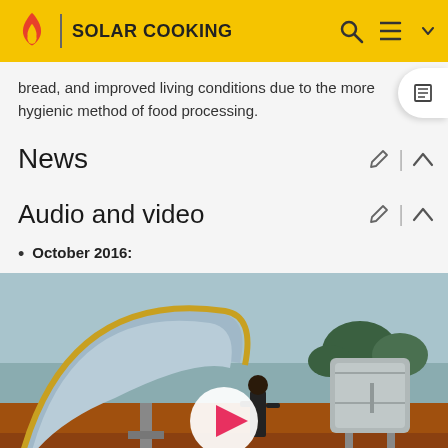SOLAR COOKING
bread, and improved living conditions due to the more hygienic method of food processing.
News
Audio and video
October 2016:
[Figure (photo): Solar parabolic dish cooker with a metal box receiver, video thumbnail with play button, outdoor scene in Africa]